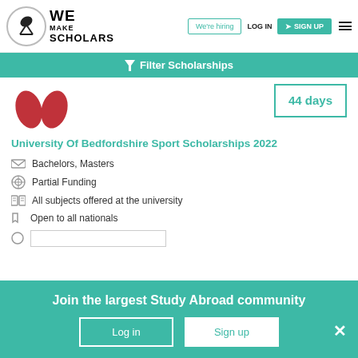We Make Scholars | We're hiring | LOG IN | SIGN UP
Filter Scholarships
[Figure (logo): University of Bedfordshire red logo with two petal shapes]
44 days
University Of Bedfordshire Sport Scholarships 2022
Bachelors, Masters
Partial Funding
All subjects offered at the university
Open to all nationals
Join the largest Study Abroad community
Log in
Sign up